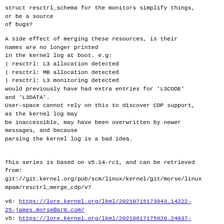struct resctrl_schema for the monitors simplify things,
or be a source
of bugs?
A side effect of merging these resources, is their
names are no longer printed
in the kernel log at boot. e.g:
| resctrl: L3 allocation detected
| resctrl: MB allocation detected
| resctrl: L3 monitoring detected
would previously have had extra entries for 'L3CODE'
and 'L3DATA'.
User-space cannot rely on this to discover CDP support,
as the kernel log may
be inaccessible, may have been overwritten by newer
messages, and because
parsing the kernel log is a bad idea.
This series is based on v5.14-rc1, and can be retrieved
from:
git://git.kernel.org/pub/scm/linux/kernel/git/morse/linux
mpam/resctrl_merge_cdp/v7
v6: https://lore.kernel.org/lkml/20210715173043.14222-25-james.morse@arm.com/
v5: https://lore.kernel.org/lkml/20210617175820.24037-1-james.morse@arm.com/
v4: https://lore.kernel.org/lkml/20210614200941.12383-1-james.morse@arm.com/